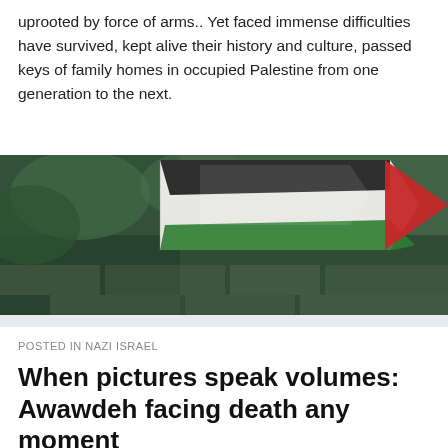uprooted by force of arms.. Yet faced immense difficulties have survived, kept alive their history and culture, passed keys of family homes in occupied Palestine from one generation to the next.
[Figure (photo): A Palestinian flag with red, white, green and black colors waving in front of a stone/wall background with greenery]
POSTED IN NAZI ISRAEL
When pictures speak volumes: Awawdeh facing death any moment
August 28, 2022
Source: Al Mayadeen